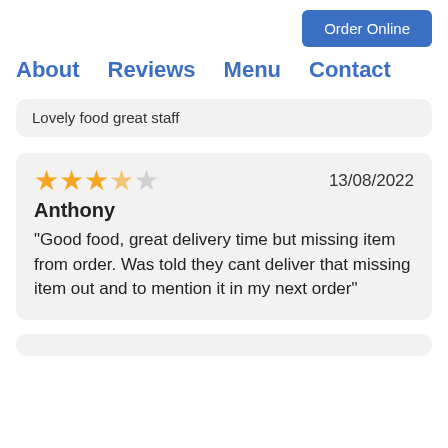Order Online
About   Reviews   Menu   Contact
Lovely food great staff
★★★½☆☆  13/08/2022
Anthony
"Good food, great delivery time but missing item from order. Was told they cant deliver that missing item out and to mention it in my next order"